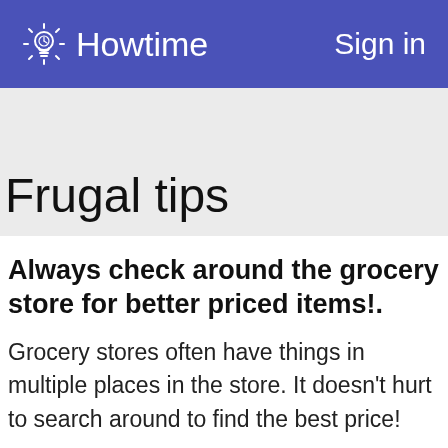Howtime   Sign in
Frugal tips
Always check around the grocery store for better priced items!.
Grocery stores often have things in multiple places in the store. It doesn't hurt to search around to find the best price!